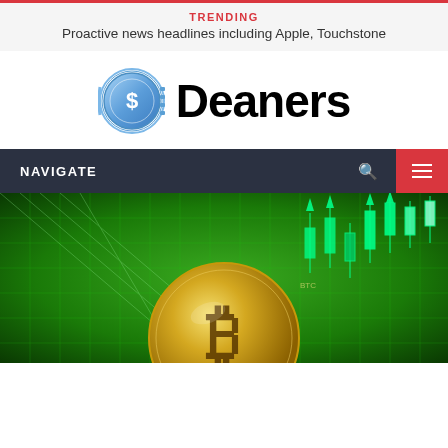TRENDING
Proactive news headlines including Apple, Touchstone
[Figure (logo): Deaners logo: a blue coin with dollar sign and the text Deaners in bold black]
NAVIGATE
[Figure (photo): Bitcoin gold coin against green glowing stock market chart background]